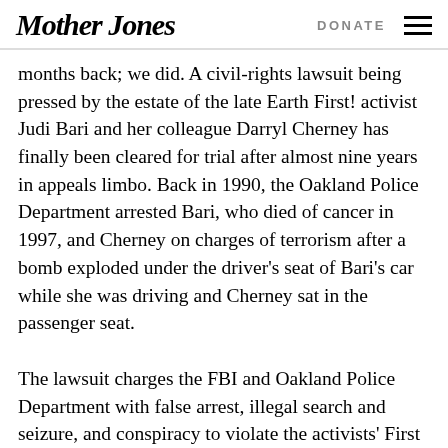Mother Jones | DONATE
months back; we did. A civil-rights lawsuit being pressed by the estate of the late Earth First! activist Judi Bari and her colleague Darryl Cherney has finally been cleared for trial after almost nine years in appeals limbo. Back in 1990, the Oakland Police Department arrested Bari, who died of cancer in 1997, and Cherney on charges of terrorism after a bomb exploded under the driver’s seat of Bari’s car while she was driving and Cherney sat in the passenger seat.
The lawsuit charges the FBI and Oakland Police Department with false arrest, illegal search and seizure, and conspiracy to violate the activists’ First Amendment rights.